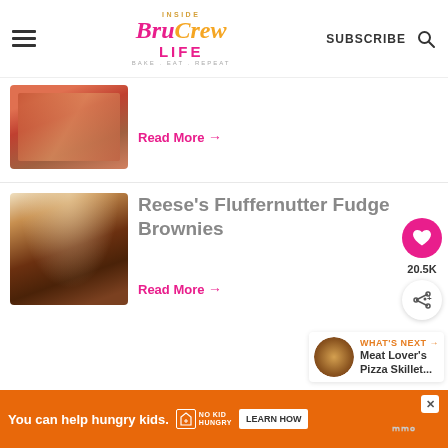Inside Bru Crew Life – SUBSCRIBE
[Figure (photo): Partially visible food photo (burger or meat dish with vegetables)]
Read More →
[Figure (photo): Reese's Fluffernutter Fudge Brownies – stacked chocolate brownies with peanut butter and Reese's pieces]
Reese's Fluffernutter Fudge Brownies
Read More →
[Figure (photo): What's Next thumbnail – Meat Lover's Pizza Skillet]
WHAT'S NEXT → Meat Lover's Pizza Skillet...
You can help hungry kids. NO KID HUNGRY LEARN HOW